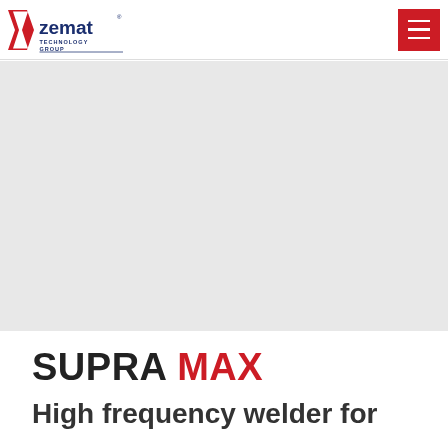Zemat Technology Group
[Figure (logo): Zemat Technology Group logo with red chevron/flag icon and blue text]
[Figure (photo): Gray hero image area showing SUPRA MAX high frequency welder product]
SUPRA MAX
High frequency welder for